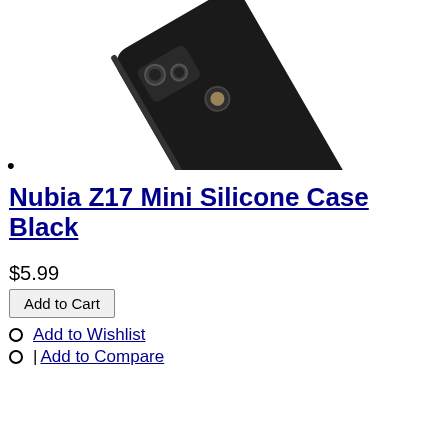[Figure (photo): Black Nubia Z17 Mini silicone phone case shown at an angle, with camera cutouts visible on the back]
Nubia Z17 Mini Silicone Case Black
$5.99
Add to Cart
Add to Wishlist
| Add to Compare